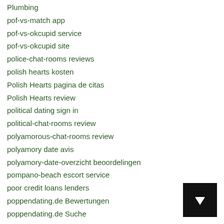Plumbing
pof-vs-match app
pof-vs-okcupid service
pof-vs-okcupid site
police-chat-rooms reviews
polish hearts kosten
Polish Hearts pagina de citas
Polish Hearts review
political dating sign in
political-chat-rooms review
polyamorous-chat-rooms review
polyamory date avis
polyamory-date-overzicht beoordelingen
pompano-beach escort service
poor credit loans lenders
poppendating.de Bewertungen
poppendating.de Suche
Popular dating sites review
port-st-lucie escort index